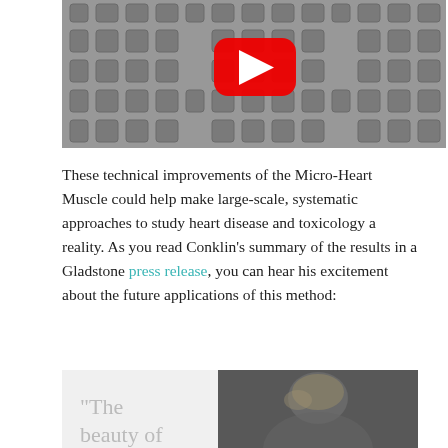[Figure (screenshot): YouTube video thumbnail showing close-up microscopy image of a micro-heart muscle structure with a red YouTube play button overlay]
These technical improvements of the Micro-Heart Muscle could help make large-scale, systematic approaches to study heart disease and toxicology a reality. As you read Conklin’s summary of the results in a Gladstone press release, you can hear his excitement about the future applications of this method:
[Figure (photo): Gray quote box with large light gray quotation starting '“The beauty of' on the left, and a photo of a person (Conklin) on the right side]